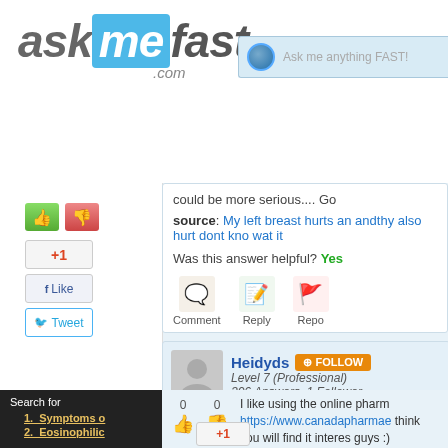[Figure (screenshot): AskMeFast.com logo with blue 'me' box and italic styling]
[Figure (screenshot): Search bar with globe icon and 'Ask me anything FAST!' placeholder]
could be more serious.... Go
source: My left breast hurts an andthy also hurt dont kno wat it
Was this answer helpful? Yes
[Figure (screenshot): Comment, Reply, Report action icons]
Comment   Reply   Repo
[Figure (screenshot): User profile: Heidyds, FOLLOW button, Level 7 (Professional), 306 Answers, 1 Follower]
I like using the online pharm https://www.canadapharmae think you will find it interes guys :)
1. Symptoms o
2. Eosinophilic
Search for